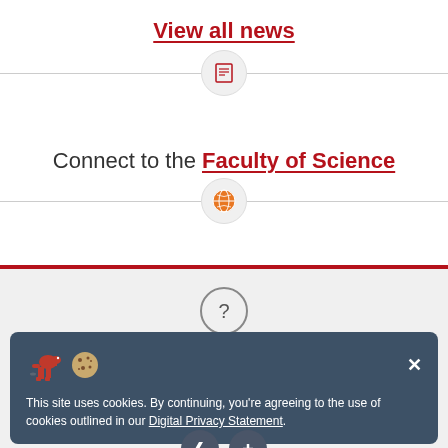View all news
[Figure (infographic): Horizontal divider line with a circle containing a document/news icon in the center]
Connect to the Faculty of Science
[Figure (infographic): Horizontal divider line with a circle containing an orange globe icon in the center]
[Figure (infographic): Gray background section with a circle containing a question mark]
This site uses cookies. By continuing, you're agreeing to the use of cookies outlined in our Digital Privacy Statement.